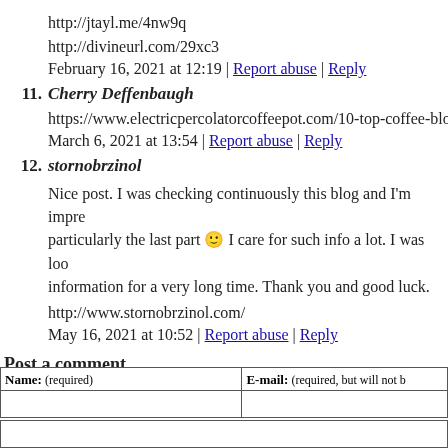http://jtayl.me/4nw9q
http://divineurl.com/29xc3
February 16, 2021 at 12:19 | Report abuse | Reply
11. Cherry Deffenbaugh
https://www.electricpercolatorcoffeepot.com/10-top-coffee-blo
March 6, 2021 at 13:54 | Report abuse | Reply
12. stornobrzinol
Nice post. I was checking continuously this blog and I'm impre particularly the last part 🙂 I care for such info a lot. I was loo information for a very long time. Thank you and good luck.
http://www.stornobrzinol.com/
May 16, 2021 at 10:52 | Report abuse | Reply
Post a comment
| Name: (required) | E-mail: (required, but will not b |
| --- | --- |
|  |  |
|  |  |